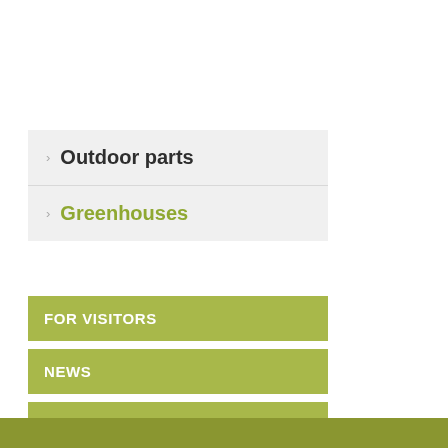› Outdoor parts
› Greenhouses
FOR VISITORS
NEWS
CALENDAR